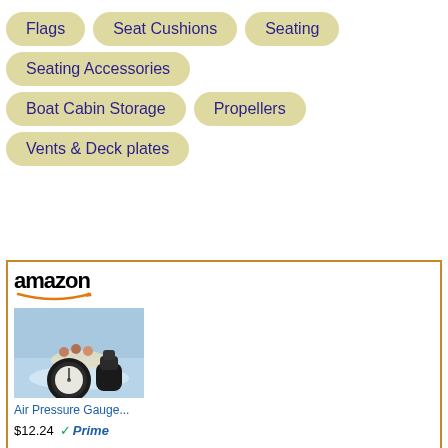Flags
Seat Cushions
Seating
Seating Accessories
Boat Cabin Storage
Propellers
Vents & Deck plates
[Figure (screenshot): Amazon product listing showing an Air Pressure Gauge priced at $12.24 with Prime badge. Product image shows a black air pressure gauge with rafting background image above it. Amazon logo with orange smile arrow is visible.]